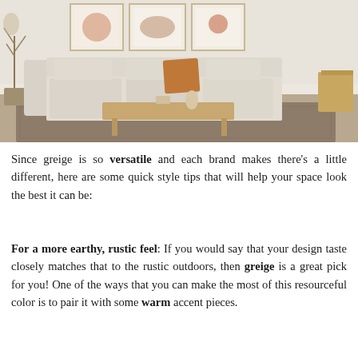[Figure (photo): Interior living room photo showing a beige/cream sectional sofa with throw pillows including an orange/rust accent pillow, a light wood coffee table, framed abstract art on the wall, a dried plant arrangement on the left, and a side table on the right, on a patterned area rug.]
Since greige is so versatile and each brand makes there's a little different, here are some quick style tips that will help your space look the best it can be:
For a more earthy, rustic feel: If you would say that your design taste closely matches that to the rustic outdoors, then greige is a great pick for you! One of the ways that you can make the most of this resourceful color is to pair it with some warm accent pieces.